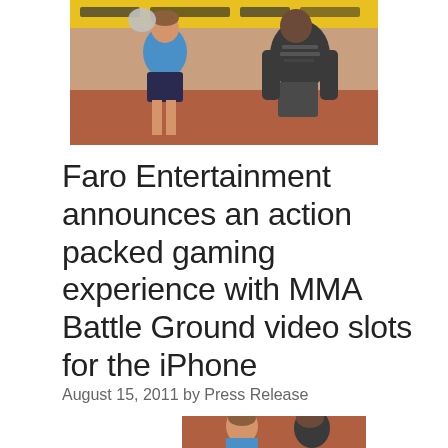[Figure (photo): Two MMA fighters training; a woman in blue top throwing a punch and a man in dark t-shirt in the background, in a gym setting with yellow banner visible.]
Faro Entertainment announces an action packed gaming experience with MMA Battle Ground video slots for the iPhone
August 15, 2011 by Press Release
[Figure (photo): Second photo of MMA fighters, partially visible at bottom of page.]